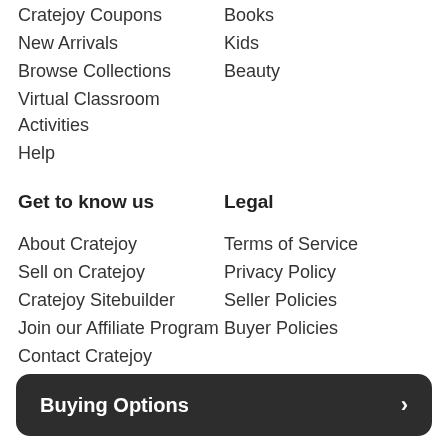Cratejoy Coupons
Books
New Arrivals
Kids
Browse Collections
Beauty
Virtual Classroom Activities
Help
Get to know us
Legal
About Cratejoy
Terms of Service
Sell on Cratejoy
Privacy Policy
Cratejoy Sitebuilder
Seller Policies
Join our Affiliate Program
Buyer Policies
Contact Cratejoy
Follow Cratejoy
Buying Options